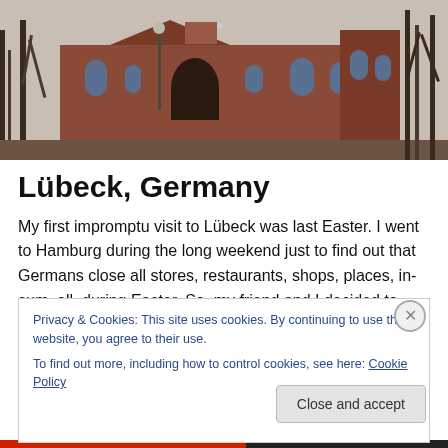[Figure (photo): Photograph of a red-brick Gothic church building with bare trees in winter, taken from the street level. The building has decorative gabled roofline and arched entrance.]
Lübeck, Germany
My first impromptu visit to Lübeck was last Easter. I went to Hamburg during the long weekend just to find out that Germans close all stores, restaurants, shops, places, in-sum, all, during Easter. So, my friend and I decided to take a stroll to this city that's just 45minutes drive from
Privacy & Cookies: This site uses cookies. By continuing to use this website, you agree to their use.
To find out more, including how to control cookies, see here: Cookie Policy
Close and accept